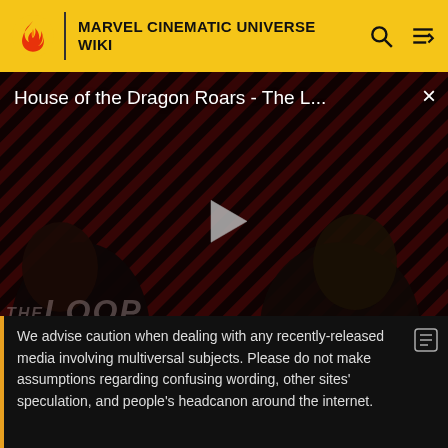MARVEL CINEMATIC UNIVERSE WIKI
[Figure (screenshot): Video player thumbnail showing 'House of the Dragon Roars - The L...' with a play button in the center, dark diagonal striped background in red/black, two dark figures visible, 'THE LOOP' text watermark, and NaN:NaN time display in bottom right. Close (×) button in top right corner.]
Pilgrim had finally woken up, as he tried desperately hard not to sober up, as he then immediately began drinking
We advise caution when dealing with any recently-released media involving multiversal subjects. Please do not make assumptions regarding confusing wording, other sites' speculation, and people's headcanon around the internet.